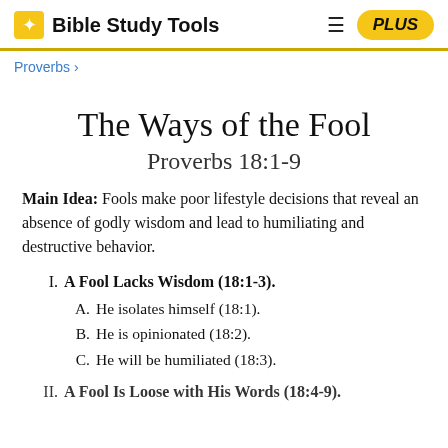Bible Study Tools | PLUS
Proverbs >
The Ways of the Fool
Proverbs 18:1-9
Main Idea: Fools make poor lifestyle decisions that reveal an absence of godly wisdom and lead to humiliating and destructive behavior.
I. A Fool Lacks Wisdom (18:1-3).
A. He isolates himself (18:1).
B. He is opinionated (18:2).
C. He will be humiliated (18:3).
II. A Fool Is Loose with His Words (18:4-9).